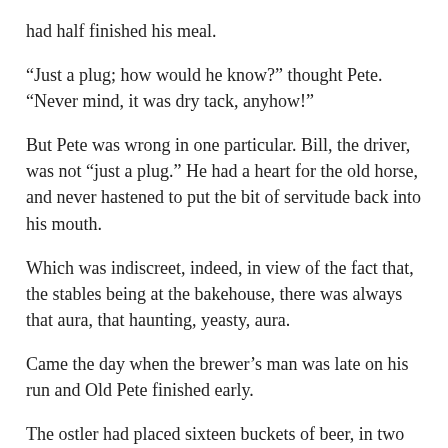had half finished his meal.
“Just a plug; how would he know?” thought Pete. “Never mind, it was dry tack, anyhow!”
But Pete was wrong in one particular. Bill, the driver, was not “just a plug.” He had a heart for the old horse, and never hastened to put the bit of servitude back into his mouth.
Which was indiscreet, indeed, in view of the fact that, the stables being at the bakehouse, there was always that aura, that haunting, yeasty, aura.
Came the day when the brewer’s man was late on his run and Old Pete finished early.
The ostler had placed sixteen buckets of beer, in two rows of eight, on the footpath, awaiting the return of the waggon. On the other side of the street Bill had buried Old Pete’s head in